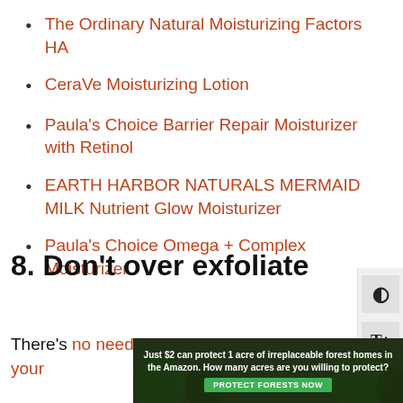The Ordinary Natural Moisturizing Factors HA
CeraVe Moisturizing Lotion
Paula's Choice Barrier Repair Moisturizer with Retinol
EARTH HARBOR NATURALS MERMAID MILK Nutrient Glow Moisturizer
Paula's Choice Omega + Complex Moisturizer
8. Don't over exfoliate
There's no need to exfoliate every time you wash your
[Figure (infographic): Advertisement banner: 'Just $2 can protect 1 acre of irreplaceable forest homes in the Amazon. How many acres are you willing to protect?' with a green 'PROTECT FORESTS NOW' button, dark forest background.]